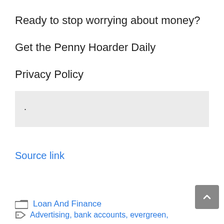Ready to stop worrying about money?
Get the Penny Hoarder Daily
Privacy Policy
[Figure (other): A light gray input/form box with a small dot bullet inside]
Source link
Loan And Finance
Advertising, bank accounts, evergreen,